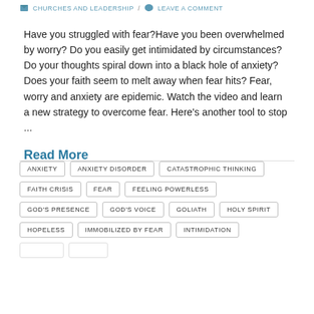CHURCHES AND LEADERSHIP / LEAVE A COMMENT
Have you struggled with fear?Have you been overwhelmed by worry? Do you easily get intimidated by circumstances? Do your thoughts spiral down into a black hole of anxiety? Does your faith seem to melt away when fear hits? Fear, worry and anxiety are epidemic. Watch the video and learn a new strategy to overcome fear. Here's another tool to stop ...
Read More
ANXIETY
ANXIETY DISORDER
CATASTROPHIC THINKING
FAITH CRISIS
FEAR
FEELING POWERLESS
GOD'S PRESENCE
GOD'S VOICE
GOLIATH
HOLY SPIRIT
HOPELESS
IMMOBILIZED BY FEAR
INTIMIDATION